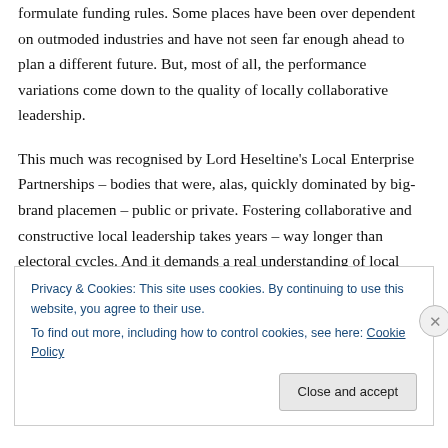formulate funding rules. Some places have been over dependent on outmoded industries and have not seen far enough ahead to plan a different future. But, most of all, the performance variations come down to the quality of locally collaborative leadership.
This much was recognised by Lord Heseltine's Local Enterprise Partnerships – bodies that were, alas, quickly dominated by big-brand placemen – public or private. Fostering collaborative and constructive local leadership takes years – way longer than electoral cycles. And it demands a real understanding of local ecosystems.
Privacy & Cookies: This site uses cookies. By continuing to use this website, you agree to their use.
To find out more, including how to control cookies, see here: Cookie Policy